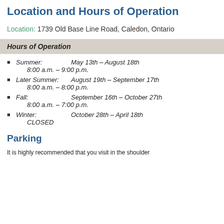Location and Hours of Operation
Location:  1739 Old Base Line Road, Caledon, Ontario
Hours of Operation
Summer:   May 13th – August 18th
8:00 a.m. – 9:00 p.m.
Later Summer:   August 19th – September 17th
8:00 a.m. – 8:00 p.m.
Fall:   September 16th – October 27th
8:00 a.m. – 7:00 p.m.
Winter:   October 28th – April 18th
CLOSED
Parking
It is highly recommended that you visit in the shoulder